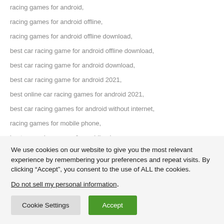racing games for android,
racing games for android offline,
racing games for android offline download,
best car racing game for android offline download,
best car racing game for android download,
best car racing game for android 2021,
best online car racing games for android 2021,
best car racing games for android without internet,
racing games for mobile phone,
best car racing games for mobile phones.
We use cookies on our website to give you the most relevant experience by remembering your preferences and repeat visits. By clicking “Accept”, you consent to the use of ALL the cookies.
Do not sell my personal information.